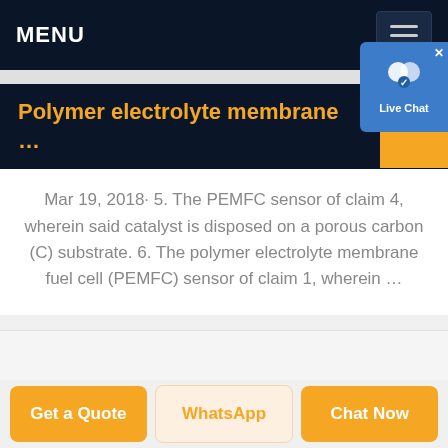MENU
Polymer electrolyte membrane …
Mar 19, 2018· 5. The PEMFC sensor of claim 4, wherein said catalyst is disposed on a porous carbon (C) substrate. 6. The polymer electrolyte membrane fuel cell (PEMFC) sensor of claim 1, wherein …
Get a Quote | WhatsApp | Chat Now